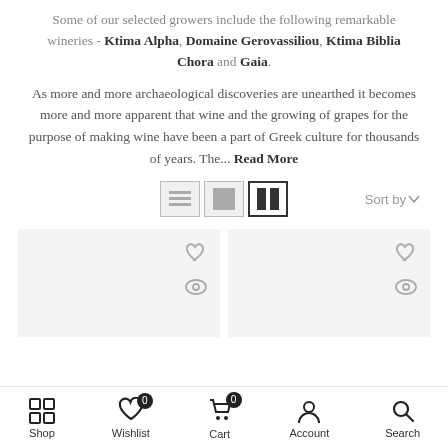Some of our selected growers include the following remarkable wineries - Ktima Alpha, Domaine Gerovassiliou, Ktima Biblia Chora and Gaia.
As more and more archaeological discoveries are unearthed it becomes more and more apparent that wine and the growing of grapes for the purpose of making wine have been a part of Greek culture for thousands of years. The... Read More
[Figure (screenshot): View toggle toolbar with list, grid-1, grid-2 buttons and Sort by dropdown]
[Figure (screenshot): Two product card placeholders with heart (wishlist) and eye (quick view) icons]
Shop | Wishlist (0) | Cart (0) | Account | Search